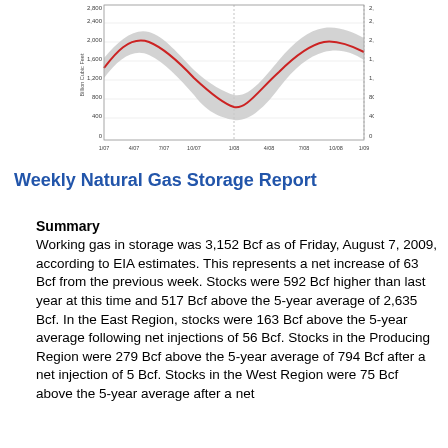[Figure (continuous-plot): Line chart showing natural gas storage levels over time with a red line (current year) and gray shaded band (5-year range). Y-axis shows Billion Cubic Feet from ~400 to 3,600. X-axis shows dates from approximately 1/1 to 1/2 (weekly intervals over roughly 2 years). The red line oscillates between seasonal highs and lows, with the gray band showing historical range.]
Weekly Natural Gas Storage Report
Summary
Working gas in storage was 3,152 Bcf as of Friday, August 7, 2009, according to EIA estimates. This represents a net increase of 63 Bcf from the previous week. Stocks were 592 Bcf higher than last year at this time and 517 Bcf above the 5-year average of 2,635 Bcf. In the East Region, stocks were 163 Bcf above the 5-year average following net injections of 56 Bcf. Stocks in the Producing Region were 279 Bcf above the 5-year average of 794 Bcf after a net injection of 5 Bcf. Stocks in the West Region were 75 Bcf above the 5-year average after a net